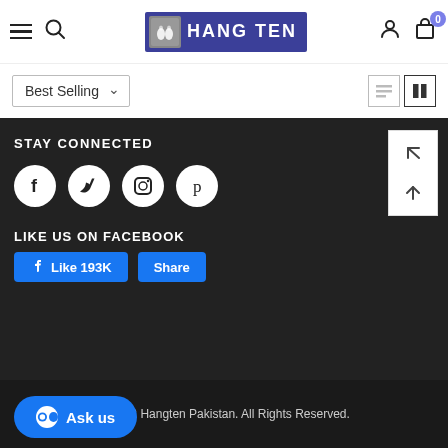[Figure (screenshot): Hang Ten Pakistan e-commerce website header with hamburger menu, search icon, Hang Ten logo, user and cart icons]
[Figure (screenshot): Sort/filter bar with Best Selling dropdown and view toggle icons]
STAY CONNECTED
[Figure (infographic): Social media icons: Facebook, Twitter, Instagram, Pinterest in white circles on dark background]
LIKE US ON FACEBOOK
[Figure (screenshot): Facebook Like 193K and Share buttons]
© 2022 Hangten Pakistan. All Rights Reserved.